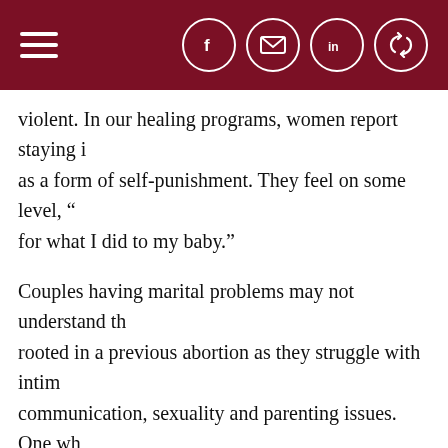Navigation header with hamburger menu and social icons (Facebook, email, LinkedIn, share)
violent. In our healing programs, women report staying in [relationships] as a form of self-punishment. They feel on some level, "[I deserve this] for what I did to my baby."
Couples having marital problems may not understand that [their issues are] rooted in a previous abortion as they struggle with intin[acy,] communication, sexuality and parenting issues. One wh[o has had an] abortion can struggle to feel worthy of the love of anoth[er. Without] healing, couples can experience serious dysfunction, and [an unresolved] past abortion is like a ticking time bomb in the marriage r[elationship.]
These wounds, furthermore, affect the living children th[at couples have.] marriages can lead children to seek love and attention o[utside the home.]